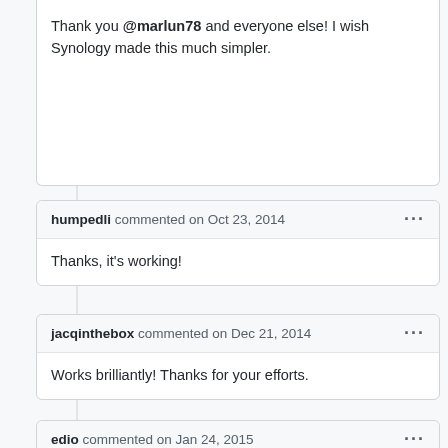Thank you @marlun78 and everyone else! I wish Synology made this much simpler.
humpedli commented on Oct 23, 2014
Thanks, it's working!
jacqinthebox commented on Dec 21, 2014
Works brilliantly! Thanks for your efforts.
edio commented on Jan 24, 2015
Thanks for the guide. It is very precise.